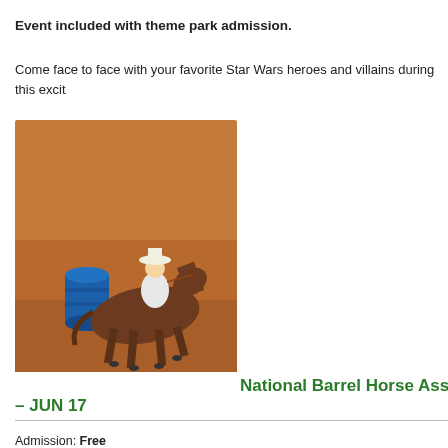Event included with theme park admission.
Come face to face with your favorite Star Wars heroes and villains during this excit
[Figure (photo): A cowgirl on horseback rounding a blue barrel in a dirt arena during a barrel racing competition.]
National Barrel Horse Asso… – JUN 17
Admission: Free
Enjoy cowboys and cowgirls showing their talent as they barrel race at the Florida S… enjoy shopping for western furniture, clothing, jewelry and much more.